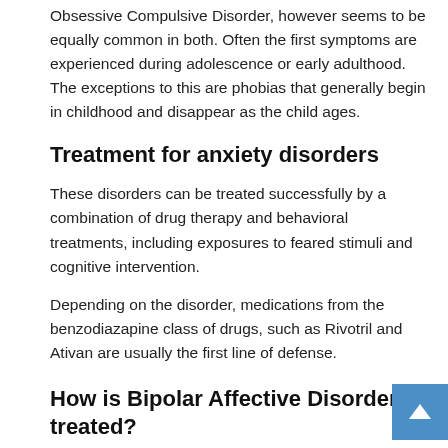Obsessive Compulsive Disorder, however seems to be equally common in both. Often the first symptoms are experienced during adolescence or early adulthood. The exceptions to this are phobias that generally begin in childhood and disappear as the child ages.
Treatment for anxiety disorders
These disorders can be treated successfully by a combination of drug therapy and behavioral treatments, including exposures to feared stimuli and cognitive intervention.
Depending on the disorder, medications from the benzodiazapine class of drugs, such as Rivotril and Ativan are usually the first line of defense.
How is Bipolar Affective Disorder treated?